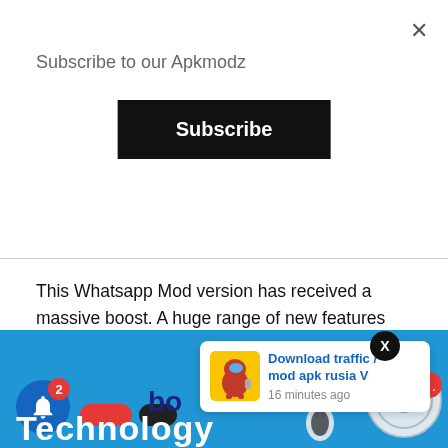×
Subscribe to our Apkmodz
Subscribe
This Whatsapp Mod version has received a massive boost. A huge range of new features and functions have come into play and they are quite stunning. Here, we tried to list some amazing ones that you must know about this wonderful Mod version. Check out our article on all the latest Whatsapp Mod 2.21 features! The best part! They are really good to use and they are ready to use and can be added in minutes by simply clicking on the. Apk Files
[Figure (screenshot): Bottom banner showing a blue background with bell notification icon with badge showing '2', red and dark pill chips, bold 'bo' text, 'Technology' text in white, a notification popup showing 'Download traffic / mod apk rusia V' with '16 minutes ago', Among Us character image in yellow box, robot chat icon, and orange dot overlay.]